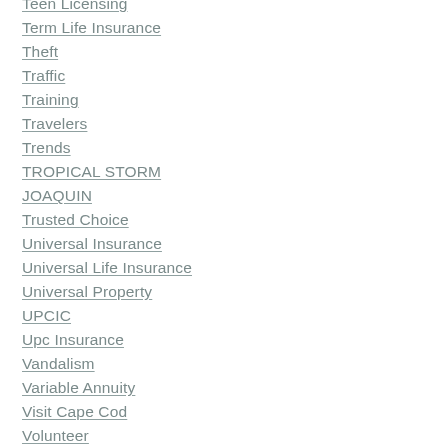Teen Licensing
Term Life Insurance
Theft
Traffic
Training
Travelers
Trends
TROPICAL STORM JOAQUIN
Trusted Choice
Universal Insurance
Universal Life Insurance
Universal Property
UPCIC
Upc Insurance
Vandalism
Variable Annuity
Visit Cape Cod
Volunteer